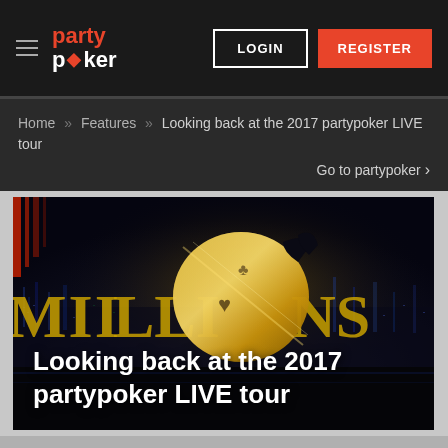partypoker — LOGIN | REGISTER
Home » Features » Looking back at the 2017 partypoker LIVE tour
Go to partypoker >
[Figure (photo): Dark promotional image for MILLIONS poker tour showing a golden trophy/chip against a nighttime city skyline background with the text 'MILLIONS' and 'Looking back at the 2017 partypoker LIVE tour' overlaid]
Looking back at the 2017 partypoker LIVE tour